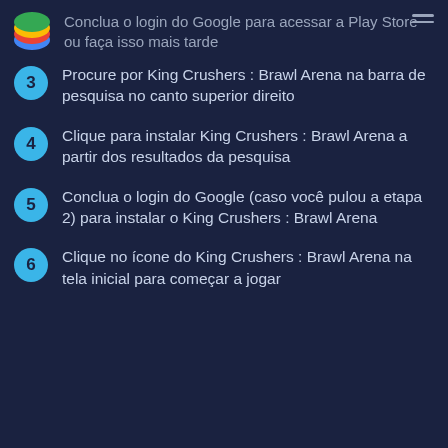Conclua o login do Google para acessar a Play Store ou faça isso mais tarde
3 Procure por King Crushers : Brawl Arena na barra de pesquisa no canto superior direito
4 Clique para instalar King Crushers : Brawl Arena a partir dos resultados da pesquisa
5 Conclua o login do Google (caso você pulou a etapa 2) para instalar o King Crushers : Brawl Arena
6 Clique no ícone do King Crushers : Brawl Arena na tela inicial para começar a jogar